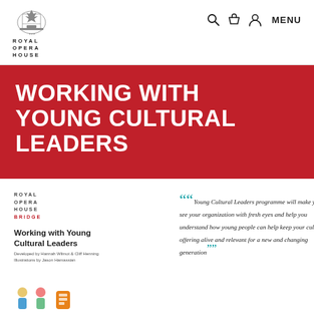ROYAL OPERA HOUSE
WORKING WITH YOUNG CULTURAL LEADERS
[Figure (logo): Royal Opera House Bridge logo with text ROYAL OPERA HOUSE BRIDGE]
Working with Young Cultural Leaders
Developed by Hannah Wilmot & Cliff Henning
Illustrations by Jason Hamassian
"Young Cultural Leaders programme will make you see your organization with fresh eyes and help you understand how young people can help keep your cultural offering alive and relevant for a new and changing generation"
[Figure (illustration): Small colourful illustration icons at the bottom left]